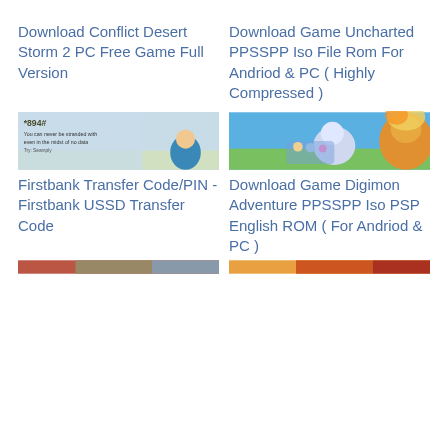Download Conflict Desert Storm 2 PC Free Game Full Version
Download Game Uncharted PPSSPP Iso File Rom For Andriod & PC ( Highly Compressed )
[Figure (screenshot): Banner image showing *894# USSD code with cartoon character, text 'You can never be stranded with *894# even in the midst of no data']
[Figure (illustration): Digimon Adventure game artwork showing anime characters and digimon creatures]
Firstbank Transfer Code/PIN - Firstbank USSD Transfer Code
Download Game Digimon Adventure PPSSPP Iso PSP English ROM ( For Andriod & PC )
[Figure (screenshot): Partial image of another article thumbnail at bottom left]
[Figure (photo): Partial image of another article thumbnail at bottom right]